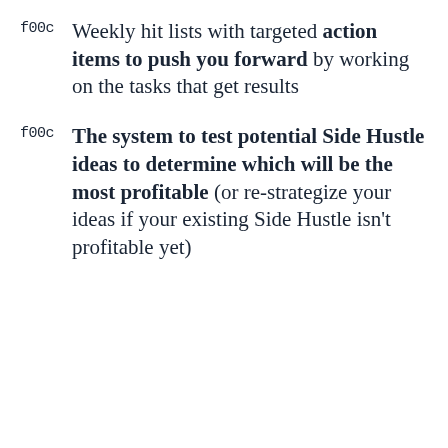f00c Weekly hit lists with targeted action items to push you forward by working on the tasks that get results
f00c The system to test potential Side Hustle ideas to determine which will be the most profitable (or re-strategize your ideas if your existing Side Hustle isn't profitable yet)